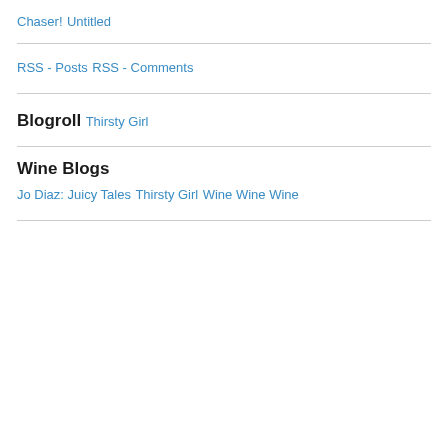Chaser!
Untitled
RSS - Posts
RSS - Comments
Blogroll
Thirsty Girl
Wine Blogs
Jo Diaz: Juicy Tales
Thirsty Girl
Wine Wine Wine